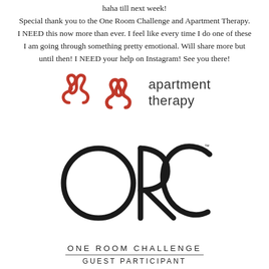haha till next week! Special thank you to the One Room Challenge and Apartment Therapy. I NEED this now more than ever. I feel like every time I do one of these I am going through something pretty emotional. Will share more but until then! I NEED your help on Instagram! See you there!
[Figure (logo): Apartment Therapy logo: red squiggle icon on left, 'apartment therapy' text in dark gray on right]
[Figure (logo): One Room Challenge logo: large ORC letters in circle/arc style, 'ONE ROOM CHALLENGE' text, horizontal rule, 'GUEST PARTICIPANT' text]